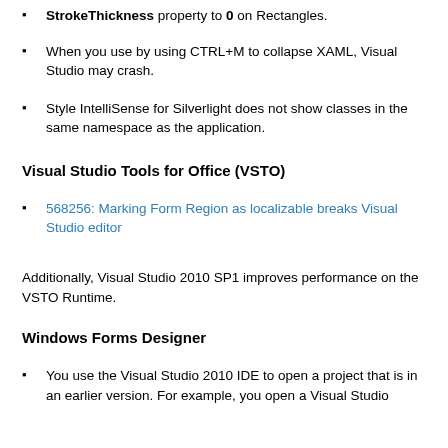StrokeThickness property to 0 on Rectangles.
When you use by using CTRL+M to collapse XAML, Visual Studio may crash.
Style IntelliSense for Silverlight does not show classes in the same namespace as the application.
Visual Studio Tools for Office (VSTO)
568256: Marking Form Region as localizable breaks Visual Studio editor
Additionally, Visual Studio 2010 SP1 improves performance on the VSTO Runtime.
Windows Forms Designer
You use the Visual Studio 2010 IDE to open a project that is in an earlier version. For example, you open a Visual Studio